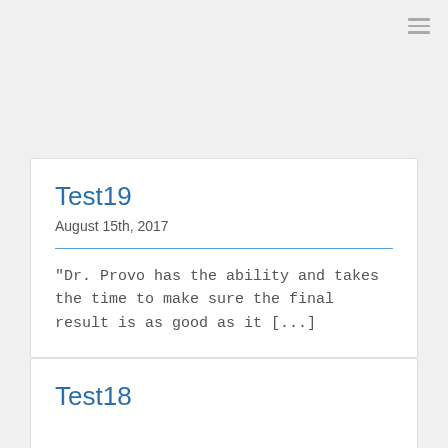Test19
August 15th, 2017
"Dr. Provo has the ability and takes the time to make sure the final result is as good as it [...]
Test18